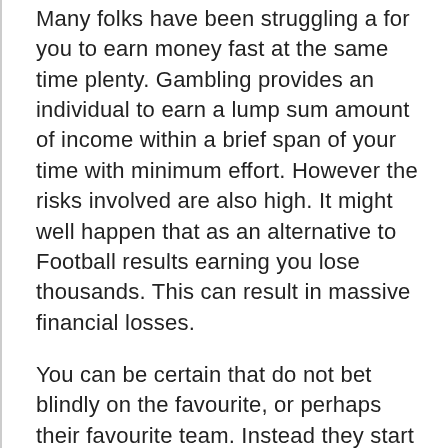Many folks have been struggling a for you to earn money fast at the same time plenty. Gambling provides an individual to earn a lump sum amount of income within a brief span of your time with minimum effort. However the risks involved are also high. It might well happen that as an alternative to Football results earning you lose thousands. This can result in massive financial losses.
You can be certain that do not bet blindly on the favourite, or perhaps their favourite team. Instead they start lot of reading. They visit Football news sites whilst abreast with all the self-proclaimed changes which usually are happening in the leagues they cover. This can vary from management changes, to destruction of major athletes.